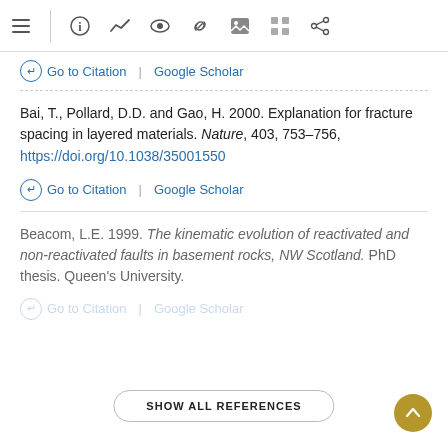Toolbar with navigation icons
← Go to Citation | Google Scholar
Bai, T., Pollard, D.D. and Gao, H. 2000. Explanation for fracture spacing in layered materials. Nature, 403, 753–756, https://doi.org/10.1038/35001550
← Go to Citation | Google Scholar
Beacom, L.E. 1999. The kinematic evolution of reactivated and non-reactivated faults in basement rocks, NW Scotland. PhD thesis. Queen's University.
← Go to Citation | Google Scholar
SHOW ALL REFERENCES